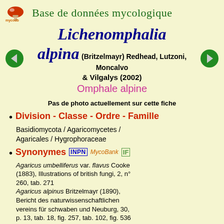Base de données mycologique
Lichenomphalia alpina (Britzelmayr) Redhead, Lutzoni, Moncalvo & Vilgalys (2002)
Omphale alpine
Pas de photo actuellement sur cette fiche
Division - Classe - Ordre - Famille
Basidiomycota / Agaricomycetes / Agaricales / Hygrophoraceae
Synonymes INPN MycoBank IF
Agaricus umbelliferus var. flavus Cooke (1883), Illustrations of british fungi, 2, n° 260, tab. 271
Agaricus alpinus Britzelmayr (1890), Bericht des naturwissenschaftlichen vereins für schwaben und Neuburg, 30, p. 13, tab. 18, fig. 257, tab. 102, fig. 536 (Basionyme)